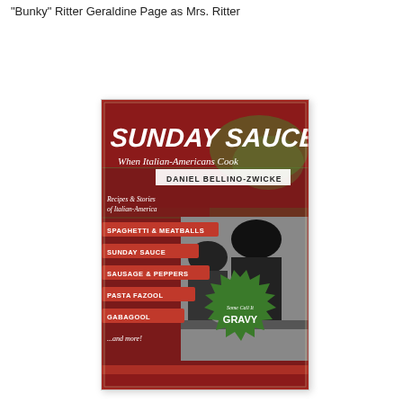"Bunky" Ritter Geraldine Page as Mrs. Ritter
[Figure (illustration): Book cover of 'Sunday Sauce: When Italian-Americans Cook' by Daniel Bellino-Zwicke. Red and green vintage-style cover featuring bold title text, author name, list of recipes (Spaghetti & Meatballs, Sunday Sauce, Sausage & Peppers, Pasta Fazool, Gabagool, ...and more!), a starburst reading 'Some Call It GRAVY', and a black-and-white photo of two men at a table.]